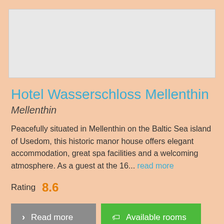[Figure (photo): Hotel image placeholder - light gray rectangle]
Hotel Wasserschloss Mellenthin
Mellenthin
Peacefully situated in Mellenthin on the Baltic Sea island of Usedom, this historic manor house offers elegant accommodation, great spa facilities and a welcoming atmosphere. As a guest at the 16... read more
Rating 8.6
Read more
Available rooms